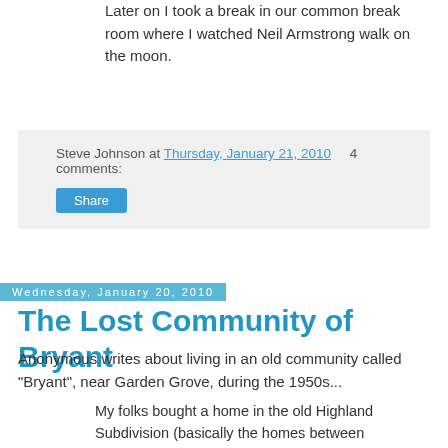Later on I took a break in our common break room where I watched Neil Armstrong walk on the moon.
Steve Johnson at Thursday, January 21, 2010    4 comments:
Share
Wednesday, January 20, 2010
The Lost Community of Bryant
Anonymous writes about living in an old community called "Bryant", near Garden Grove, during the 1950s...
My folks bought a home in the old Highland Subdivision (basically the homes between Chapman and Orangewood and Magnolia and HWY 39) in 1953. We lived on Dale Street a few houses down from Orangewood.
I was the first kindergarten class to attend Bryant Elementary School which opened in 1953. The...